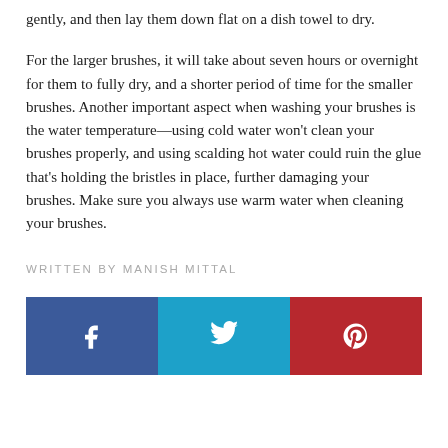gently, and then lay them down flat on a dish towel to dry.
For the larger brushes, it will take about seven hours or overnight for them to fully dry, and a shorter period of time for the smaller brushes. Another important aspect when washing your brushes is the water temperature—using cold water won't clean your brushes properly, and using scalding hot water could ruin the glue that's holding the bristles in place, further damaging your brushes. Make sure you always use warm water when cleaning your brushes.
WRITTEN BY MANISH MITTAL
[Figure (infographic): Three social sharing buttons: Facebook (blue), Twitter (light blue), Pinterest (red), each with their respective icons in white.]